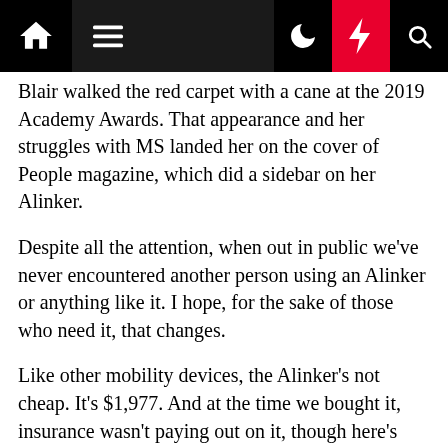[Navigation bar with home, menu, dark mode, lightning, and search icons]
Blair walked the red carpet with a cane at the 2019 Academy Awards. That appearance and her struggles with MS landed her on the cover of People magazine, which did a sidebar on her Alinker.
Despite all the attention, when out in public we've never encountered another person using an Alinker or anything like it. I hope, for the sake of those who need it, that changes.
Like other mobility devices, the Alinker's not cheap. It's $1,977. And at the time we bought it, insurance wasn't paying out on it, though here's hoping that's changed by now.
On the other hand, that's a bargain price for freedom.
Her other ride is even cooler